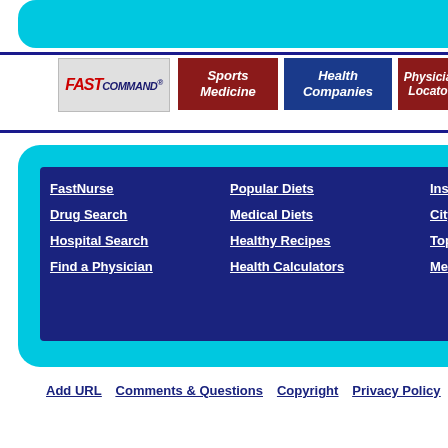[Figure (screenshot): Partial cyan rounded navigation bar at top, cut off]
[Figure (logo): FastCommand logo in gray box]
[Figure (screenshot): Sports Medicine button (dark red/maroon)]
[Figure (screenshot): Health Companies button (dark blue)]
[Figure (screenshot): Physician Locator button (dark red, partially visible)]
FastNurse
Drug Search
Hospital Search
Find a Physician
Popular Diets
Medical Diets
Healthy Recipes
Health Calculators
Insurance
City Pages
Top Drugstores
Medical Dictionary
Add URL   Comments & Questions   Copyright   Privacy Policy